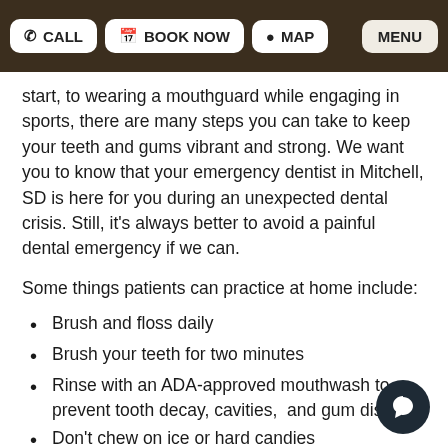CALL  BOOK NOW  MAP  MENU
start, to wearing a mouthguard while engaging in sports, there are many steps you can take to keep your teeth and gums vibrant and strong. We want you to know that your emergency dentist in Mitchell, SD is here for you during an unexpected dental crisis. Still, it's always better to avoid a painful dental emergency if we can.
Some things patients can practice at home include:
Brush and floss daily
Brush your teeth for two minutes
Rinse with an ADA-approved mouthwash to prevent tooth decay, cavities,  and gum disease
Don't chew on ice or hard candies
Avoid soft drinks or sugary treats
Drink water to hydrate
Don't use your teeth as tools